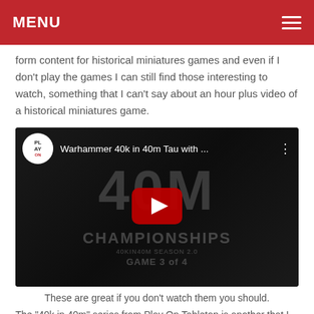MENU
form content for historical miniatures games and even if I don't play the games I can still find those interesting to watch, something that I can't say about an hour plus video of a historical miniatures game.
[Figure (screenshot): YouTube video embed showing 'Warhammer 40k in 40m Tau with ...' with a Play On channel logo, red play button, and dark background showing miniature figures and CHAMPIONSHIPS text]
These are great if you don't watch them you should.
The "40k in 40m" series from Play On Tabletop is another that I think is